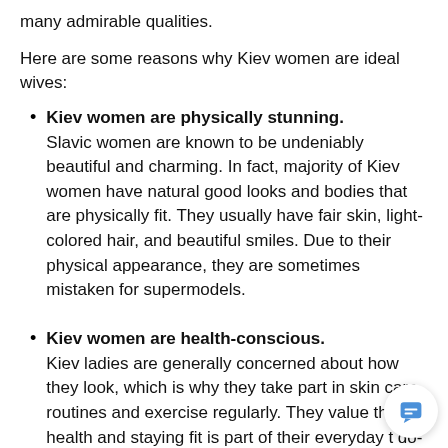many admirable qualities.
Here are some reasons why Kiev women are ideal wives:
Kiev women are physically stunning. Slavic women are known to be undeniably beautiful and charming. In fact, majority of Kiev women have natural good looks and bodies that are physically fit. They usually have fair skin, light-colored hair, and beautiful smiles. Due to their physical appearance, they are sometimes mistaken for supermodels.
Kiev women are health-conscious. Kiev ladies are generally concerned about how they look, which is why they take part in skin care routines and exercise regularly. They value their health and staying fit is part of their everyday t do-list. Due to this, you can expect her to includ you in her exercise routines and prepare healthy